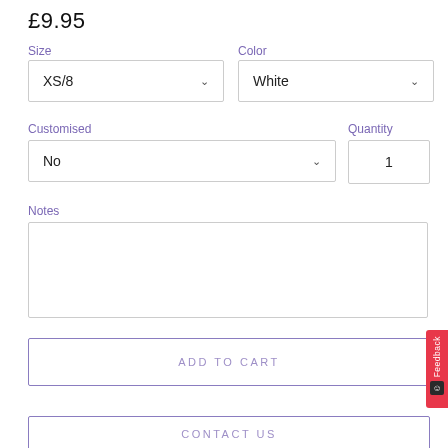£9.95
Size
Color
XS/8
White
Customised
Quantity
No
1
Notes
ADD TO CART
CONTACT US